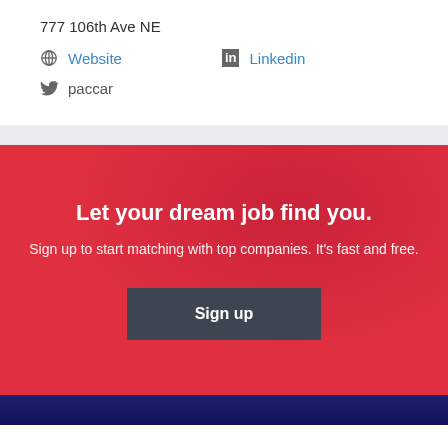777 106th Ave NE
Website   Linkedin   paccar
Let your dream job find you.
Sign up to start matching with top companies. It's fast and free.
Sign up